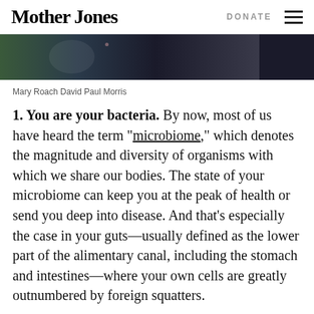Mother Jones   DONATE
[Figure (photo): Partial photo strip showing a dark background with a person, used as article header image]
Mary Roach David Paul Morris
1. You are your bacteria. By now, most of us have heard the term “microbiome,” which denotes the magnitude and diversity of organisms with which we share our bodies. The state of your microbiome can keep you at the peak of health or send you deep into disease. And that’s especially the case in your guts—usually defined as the lower part of the alimentary canal, including the stomach and intestines—where your own cells are greatly outnumbered by foreign squatters.